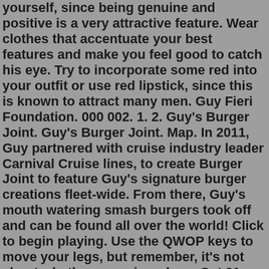yourself, since being genuine and positive is a very attractive feature. Wear clothes that accentuate your best features and make you feel good to catch his eye. Try to incorporate some red into your outfit or use red lipstick, since this is known to attract many men. Guy Fieri Foundation. 000 002. 1. 2. Guy's Burger Joint. Guy's Burger Joint. Map. In 2011, Guy partnered with cruise industry leader Carnival Cruise lines, to create Burger Joint to feature Guy's signature burger creations fleet-wide. From there, Guy's mouth watering smash burgers took off and can be found all over the world! Click to begin playing. Use the QWOP keys to move your legs, but remember, it's not about whether you win or lose. Oct 01, 2021 · If you go on one date per week, that turns out to be around 10 to 12 dates in that period of time. If you've been going out for a few weeks and are on date number 9, for example, one or both of ... Feb 13, 2020 · Build Your Dream Boyfriend With This Foolproof Interactive Tool Mr. Right is just a few clicks away! Eko Brand Publisher Ready to meet your